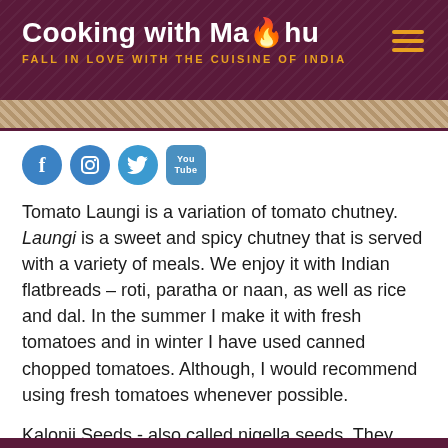Cooking with Madhu — FALL IN LOVE WITH THE CUISINE OF INDIA
[Figure (other): Social media icons row: Facebook, Instagram, Twitter, YouTube]
Tomato Laungi is a variation of tomato chutney. Laungi is a sweet and spicy chutney that is served with a variety of meals. We enjoy it with Indian flatbreads – roti, paratha or naan, as well as rice and dal. In the summer I make it with fresh tomatoes and in winter I have used canned chopped tomatoes. Although, I would recommend using fresh tomatoes whenever possible.
Kalonji Seeds - also called nigella seeds. They maybe hard to find. They are easily available from an Indian grocery store or I